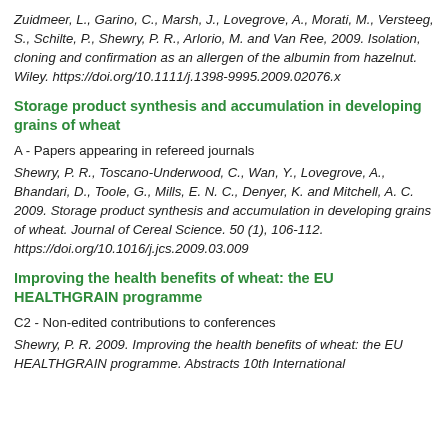Zuidmeer, L., Garino, C., Marsh, J., Lovegrove, A., Morati, M., Versteeg, S., Schilte, P., Shewry, P. R., Arlorio, M. and Van Ree, 2009. Isolation, cloning and confirmation as an allergen of the albumin from hazelnut. Wiley. https://doi.org/10.1111/j.1398-9995.2009.02076.x
Storage product synthesis and accumulation in developing grains of wheat
A - Papers appearing in refereed journals
Shewry, P. R., Toscano-Underwood, C., Wan, Y., Lovegrove, A., Bhandari, D., Toole, G., Mills, E. N. C., Denyer, K. and Mitchell, A. C. 2009. Storage product synthesis and accumulation in developing grains of wheat. Journal of Cereal Science. 50 (1), 106-112. https://doi.org/10.1016/j.jcs.2009.03.009
Improving the health benefits of wheat: the EU HEALTHGRAIN programme
C2 - Non-edited contributions to conferences
Shewry, P. R. 2009. Improving the health benefits of wheat: the EU HEALTHGRAIN programme. Abstracts 10th International